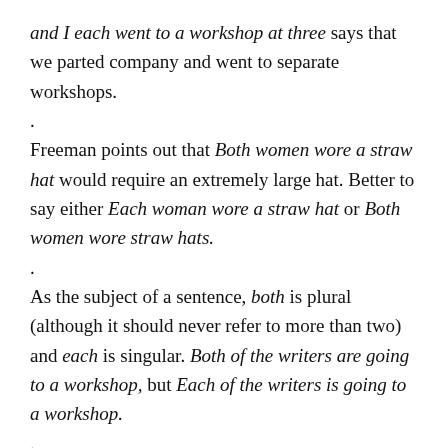and I each went to a workshop at three says that we parted company and went to separate workshops.
.
Freeman points out that Both women wore a straw hat would require an extremely large hat. Better to say either Each woman wore a straw hat or Both women wore straw hats.
.
As the subject of a sentence, both is plural (although it should never refer to more than two) and each is singular. Both of the writers are going to a workshop, but Each of the writers is going to a workshop.
.
In short, both of these words can be confused or